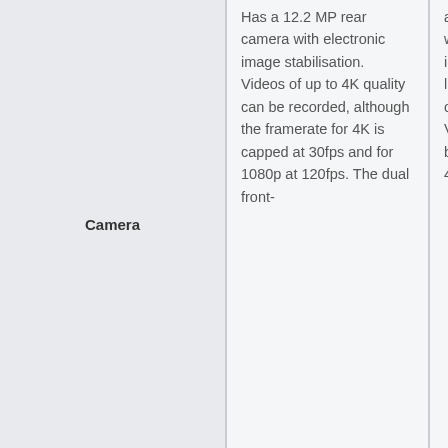|  | Column 2 | Column 3 |
| --- | --- | --- |
| Camera | Has a 12.2 MP rear camera with electronic image stabilisation.  Videos of up to 4K quality can be recorded, although the framerate for 4K is capped at 30fps and for 1080p at 120fps. The dual front- | aperture 12 MP rear camera with 1.4-micron pixels that offer improved performance in low light conditions, along with optical image stabilisation. Videos of up to 4K quality can be recorded, with framerate for 4K going as high as 60fps and |